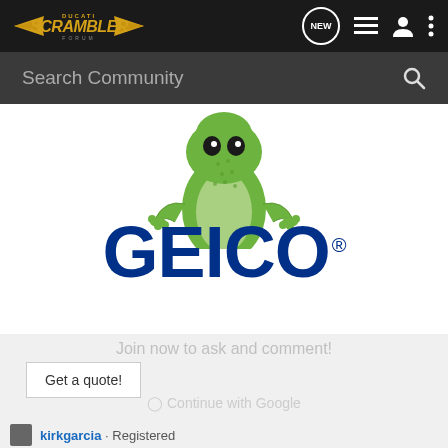[Figure (logo): Ducati Scrambler Forum logo with gold wings and text on dark background]
Search Community
[Figure (photo): GEICO advertisement featuring the GEICO gecko mascot standing behind the GEICO logo in large blue letters with registered trademark symbol]
Join now to ask and comment!
Get a quote!
Continue with Google
kirkgarcia · Registered